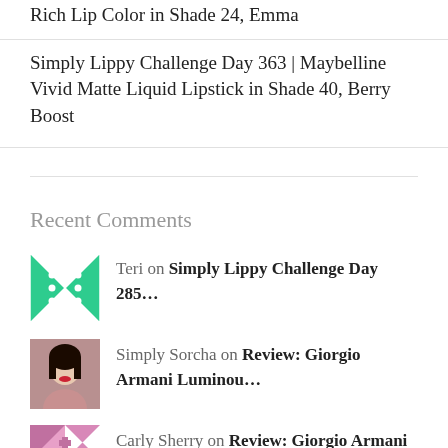Rich Lip Color in Shade 24, Emma
Simply Lippy Challenge Day 363 | Maybelline Vivid Matte Liquid Lipstick in Shade 40, Berry Boost
Recent Comments
Teri on Simply Lippy Challenge Day 285...
Simply Sorcha on Review: Giorgio Armani Luminou...
Carly Sherry on Review: Giorgio Armani Luminou...
Simply Sorcha on Eyebrows | Microblading